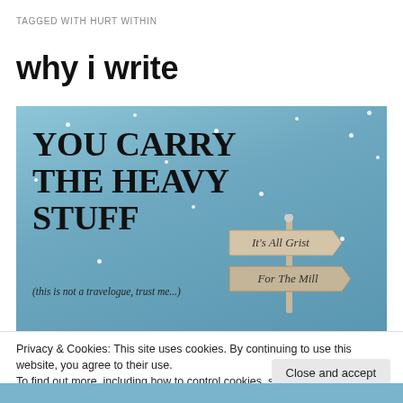TAGGED WITH HURT WITHIN
why i write
[Figure (illustration): Book cover illustration with light blue sky background and snow dots. Large serif text reads 'YOU CARRY THE HEAVY STUFF' with subtitle '(this is not a travelogue, trust me...)'. Right side shows a wooden signpost with two signs reading 'It's All Grist' and 'For The Mill'.]
Privacy & Cookies: This site uses cookies. By continuing to use this website, you agree to their use.
To find out more, including how to control cookies, see here: Cookie Policy
Close and accept